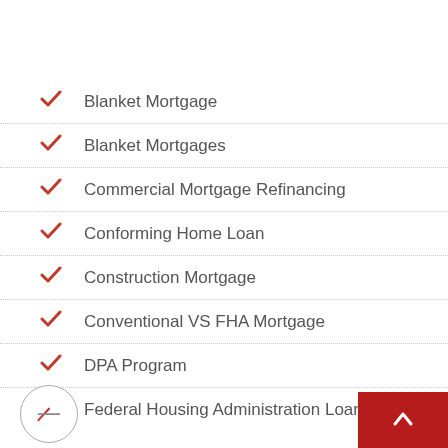Blanket Mortgage
Blanket Mortgages
Commercial Mortgage Refinancing
Conforming Home Loan
Construction Mortgage
Conventional VS FHA Mortgage
DPA Program
Federal Housing Administration Loan